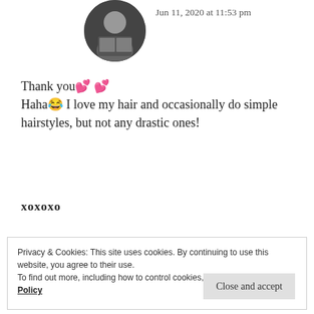[Figure (photo): Circular avatar photo of a person reading a book]
Jun 11, 2020 at 11:53 pm
Thank you💕 💕
Haha😂 I love my hair and occasionally do simple hairstyles, but not any drastic ones!
xoxoxo
★ Like
REPLY
Privacy & Cookies: This site uses cookies. By continuing to use this website, you agree to their use.
To find out more, including how to control cookies, see here: Cookie Policy
Close and accept